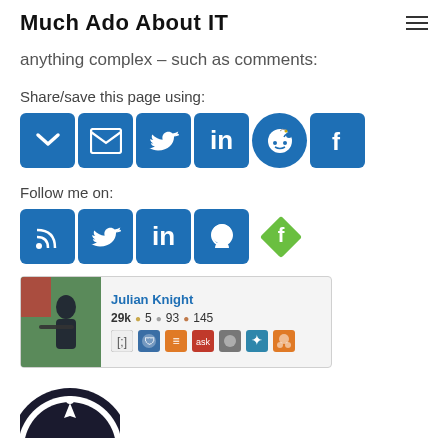Much Ado About IT
anything complex – such as comments:
Share/save this page using:
[Figure (infographic): Social sharing buttons: Pocket, Email, Twitter, LinkedIn, Reddit, Facebook – all blue rounded squares]
Follow me on:
[Figure (infographic): Follow buttons: RSS, Twitter, LinkedIn, GitHub (blue squares), and Feedly (green diamond)]
[Figure (infographic): Stack Overflow user card for Julian Knight showing 29k reputation, 5 gold, 93 silver, 145 bronze badges, and various site badges]
[Figure (logo): Partial circular logo at bottom, dark with pen/quill icon]